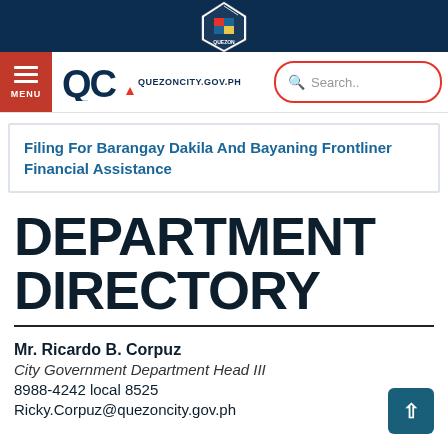[Figure (logo): Quezon City government shield/crest logo at top of navy banner]
QC QUEZONCITY.GOV.PH | Search..
Filing For Barangay Dakila And Bayaning Frontliner Financial Assistance
DEPARTMENT DIRECTORY
Mr. Ricardo B. Corpuz
City Government Department Head III
8988-4242 local 8525
Ricky.Corpuz@quezoncity.gov.ph